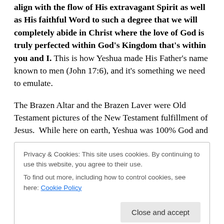align with the flow of His extravagant Spirit as well as His faithful Word to such a degree that we will completely abide in Christ where the love of God is truly perfected within God's Kingdom that's within you and I. This is how Yeshua made His Father's name known to men (John 17:6), and it's something we need to emulate.
The Brazen Altar and the Brazen Laver were Old Testament pictures of the New Testament fulfillment of Jesus.  While here on earth, Yeshua was 100% God and
Privacy & Cookies: This site uses cookies. By continuing to use this website, you agree to their use.
To find out more, including how to control cookies, see here: Cookie Policy
that from which everything proceeds